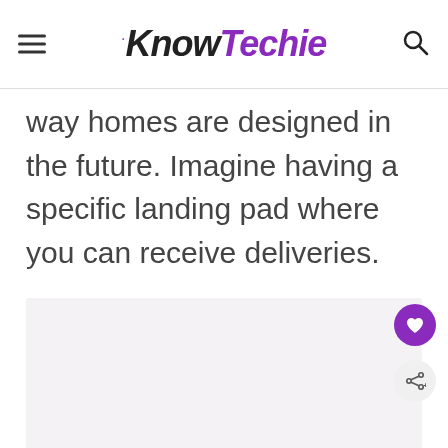KnowTechie
way homes are designed in the future. Imagine having a specific landing pad where you can receive deliveries.
[Figure (other): Light gray image placeholder area with three dots at the bottom center]